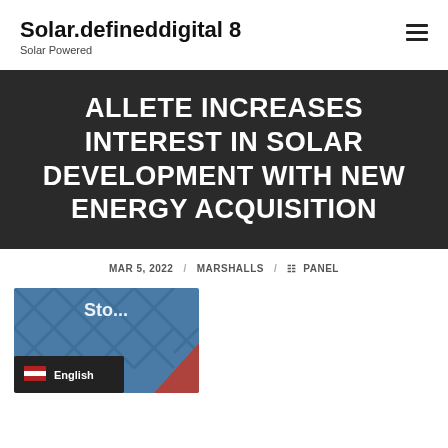Solar.defineddigital 8
Solar Powered
ALLETE INCREASES INTEREST IN SOLAR DEVELOPMENT WITH NEW ENERGY ACQUISITION
MAR 5, 2022 / MARSHALLS / PANEL
[Figure (photo): Thumbnail image with blue/dark background showing partial text and an English language selector button with US flag icon]